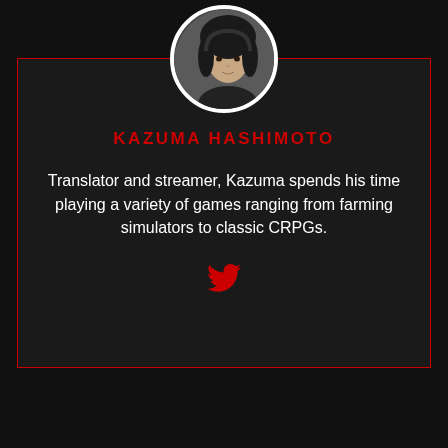[Figure (photo): Circular profile photo of Kazuma Hashimoto, a person with dark hair, with a white circular border]
KAZUMA HASHIMOTO
Translator and streamer, Kazuma spends his time playing a variety of games ranging from farming simulators to classic CRPGs.
[Figure (illustration): Red Twitter bird icon]